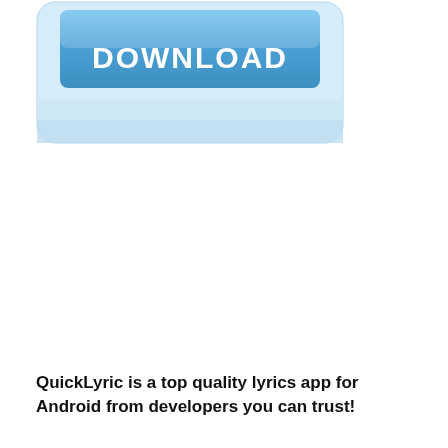[Figure (screenshot): A download button with blue gradient background and white bold text reading DOWNLOAD, with a light blue rounded rectangle frame behind it]
QuickLyric is a top quality lyrics app for Android from developers you can trust!